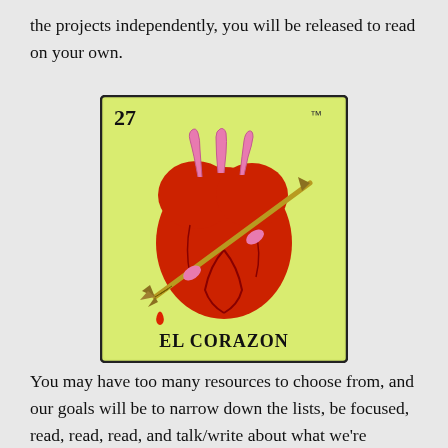the projects independently, you will be released to read on your own.
[Figure (illustration): Mexican Lotería card number 27, 'El Corazon' (The Heart). A stylized anatomical heart pierced by an arrow, with pink vessels at the top, rendered in red and dark tones on a yellow-green background. The number 27 appears in the top-left corner, a TM symbol in the top-right, and 'EL CORAZON' in bold text at the bottom. The card has a dark border.]
You may have too many resources to choose from, and our goals will be to narrow down the lists, be focused, read, read, read, and talk/write about what we're